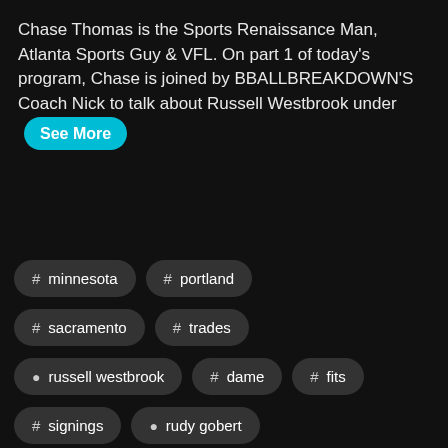Chase Thomas is the Sports Renaissance Man, Atlanta Sports Guy & VFL. On part 1 of today's program, Chase is joined by BBALLBREAKDOWN'S Coach Nick to talk about Russell Westbrook under See More
# minnesota
# portland
# sacramento
# trades
person russell westbrook
# dame
# fits
# signings
person rudy gobert
# nba offseason
person marcus smart
person jerami grant
# vfl